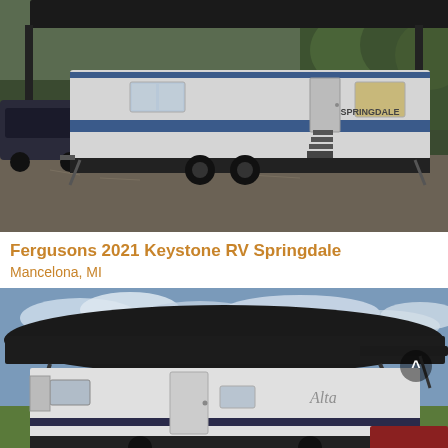[Figure (photo): Exterior photo of a Keystone RV Springdale travel trailer parked on gravel under a carport/canopy structure, with trees in background and a car visible on the left side.]
Fergusons 2021 Keystone RV Springdale
Mancelona, MI
[Figure (photo): Exterior photo of a travel trailer RV labeled 'Alta' with a large awning extended, parked on green grass with a cloudy blue sky background. A chevron/up arrow icon is visible in the upper right corner.]